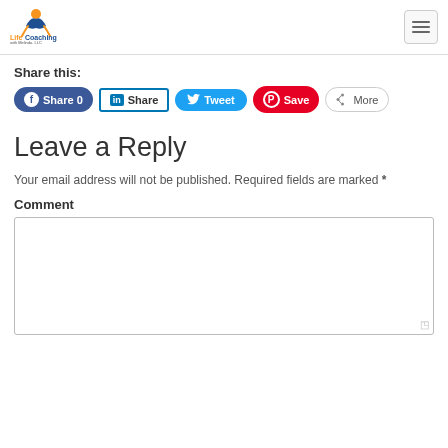[Figure (logo): LifeCoaching with Melinda LLC logo with colorful figure icon]
Share this:
Share 0 | Share | Tweet | Save | More
Leave a Reply
Your email address will not be published. Required fields are marked *
Comment